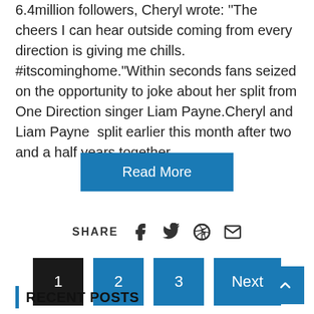6.4million followers, Cheryl wrote: "The cheers I can hear outside coming from every direction is giving me chills. #itscominghome."Within seconds fans seized on the opportunity to joke about her split from One Direction singer Liam Payne.Cheryl and Liam Payne  split earlier this month after two and a half years together. ...
Read More
SHARE
1  2  3  Next
RECENT POSTS